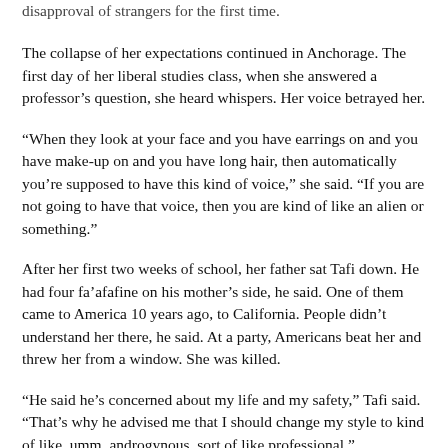disapproval of strangers for the first time.
The collapse of her expectations continued in Anchorage. The first day of her liberal studies class, when she answered a professor's question, she heard whispers. Her voice betrayed her.
“When they look at your face and you have earrings on and you have make-up on and you have long hair, then automatically you’re supposed to have this kind of voice,” she said. “If you are not going to have that voice, then you are kind of like an alien or something.”
After her first two weeks of school, her father sat Tafi down. He had four fa’afafine on his mother’s side, he said. One of them came to America 10 years ago, to California. People didn’t understand her there, he said. At a party, Americans beat her and threw her from a window. She was killed.
“He said he’s concerned about my life and my safety,” Tafi said. “That’s why he advised me that I should change my style to kind of like, umm, androgynous, sort of like professional.”